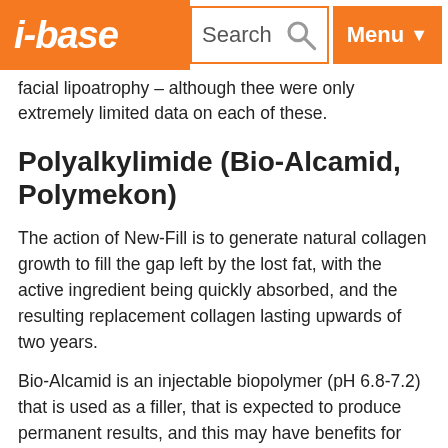i-base | Search | Menu
facial lipoatrophy – although thee were only extremely limited data on each of these.
Polyalkylimide (Bio-Alcamid, Polymekon)
The action of New-Fill is to generate natural collagen growth to fill the gap left by the lost fat, with the active ingredient being quickly absorbed, and the resulting replacement collagen lasting upwards of two years.
Bio-Alcamid is an injectable biopolymer (pH 6.8-7.2) that is used as a filler, that is expected to produce permanent results, and this may have benefits for some patients. The supporting information says that once injected it becomes coated by a 'thin collagen capsule' that transforms it into an endogenous prosthesis. It is used in Europe mainly in private clinics for HIV-related lipoatrophy (including in the Hifi and in a CE0120 compliant product from a pharmacist in